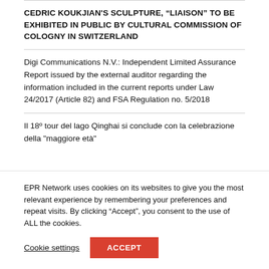CEDRIC KOUKJIAN'S SCULPTURE, “LIAISON” TO BE EXHIBITED IN PUBLIC BY CULTURAL COMMISSION OF COLOGNY IN SWITZERLAND
Digi Communications N.V.: Independent Limited Assurance Report issued by the external auditor regarding the information included in the current reports under Law 24/2017 (Article 82) and FSA Regulation no. 5/2018
Il 18º tour del lago Qinghai si conclude con la celebrazione della "maggiore età"
EPR Network uses cookies on its websites to give you the most relevant experience by remembering your preferences and repeat visits. By clicking “Accept”, you consent to the use of ALL the cookies.
Cookie settings
ACCEPT